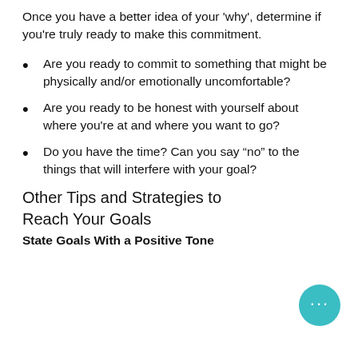Once you have a better idea of your 'why', determine if you're truly ready to make this commitment.
Are you ready to commit to something that might be physically and/or emotionally uncomfortable?
Are you ready to be honest with yourself about where you're at and where you want to go?
Do you have the time? Can you say “no” to the things that will interfere with your goal?
Other Tips and Strategies to Reach Your Goals
State Goals With a Positive Tone